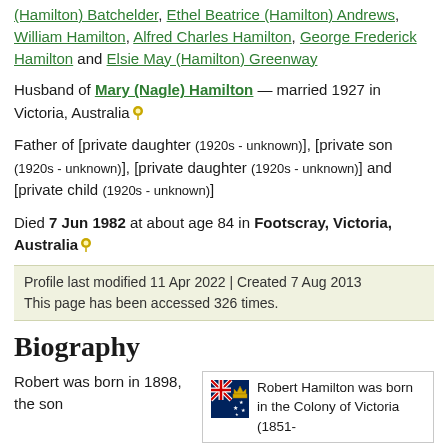(Hamilton) Batchelder, Ethel Beatrice (Hamilton) Andrews, William Hamilton, Alfred Charles Hamilton, George Frederick Hamilton and Elsie May (Hamilton) Greenway
Husband of Mary (Nagle) Hamilton — married 1927 in Victoria, Australia
Father of [private daughter (1920s - unknown)], [private son (1920s - unknown)], [private daughter (1920s - unknown)] and [private child (1920s - unknown)]
Died 7 Jun 1982 at about age 84 in Footscray, Victoria, Australia
Profile last modified 11 Apr 2022 | Created 7 Aug 2013
This page has been accessed 326 times.
Biography
Robert was born in 1898, the son
Robert Hamilton was born in the Colony of Victoria (1851-